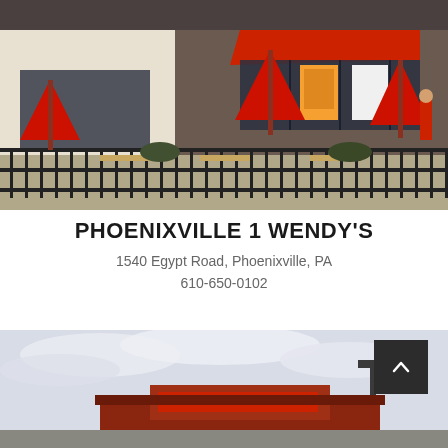[Figure (photo): Exterior photo of a Wendy's restaurant showing red awnings, red patio umbrellas, outdoor seating with metal fence, and advertising posters in the windows.]
PHOENIXVILLE 1 WENDY'S
1540 Egypt Road, Phoenixville, PA
610-650-0102
[Figure (photo): Partial exterior photo of a Wendy's restaurant building with cloudy sky, showing the restaurant's red and brick facade and a light pole in the parking lot. A dark back-to-top button with a chevron arrow is overlaid in the top-right corner.]